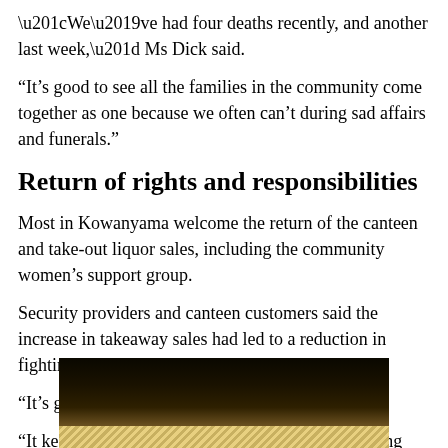“We’ve had four deaths recently, and another last week,” Ms Dick said.
“It’s good to see all the families in the community come together as one because we often can’t during sad affairs and funerals.”
Return of rights and responsibilities
Most in Kowanyama welcome the return of the canteen and take-out liquor sales, including the community women’s support group.
Security providers and canteen customers said the increase in takeaway sales had led to a reduction in fighting and anti-social behavior in the pub.
“It’s good for the community,” Smokey said.
“It keeps them out of trouble and people are enjoying their beers at home watching the football.”
[Figure (photo): Dark photograph, appears to show a dimly lit interior scene with a striped or grated surface visible at the bottom.]